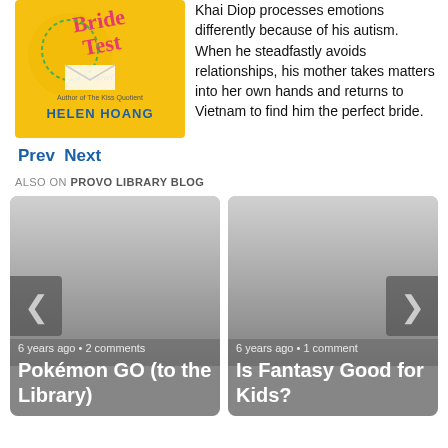[Figure (illustration): Book cover of 'The Bride Test' by Helen Hoang, yellow background with illustrated figures and text]
Khai Diop processes emotions differently because of his autism. When he steadfastly avoids relationships, his mother takes matters into her own hands and returns to Vietnam to find him the perfect bride.
Prev Next
ALSO ON PROVO LIBRARY BLOG
[Figure (screenshot): Card for blog post: 6 years ago • 2 comments — Pokémon GO (to the Library)]
[Figure (screenshot): Card for blog post: 6 years ago • 1 comment — Is Fantasy Good for Kids?]